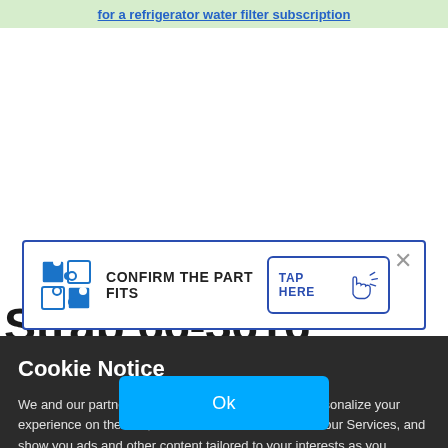for a refrigerator water filter subscription
[Figure (screenshot): Modal popup with puzzle piece icon, text 'CONFIRM THE PART FITS', a 'TAP HERE' button with hand cursor icon, and a close X button. Modal has blue border.]
Strap 66-3616
Cookie Notice
We and our partners use Cookies to improve and personalize your experience on the Site, measure the effectiveness of our Services, and show you ads and other content tailored to your interests as you navigate the web or interact with us across devices. Privacy Policy
Ok